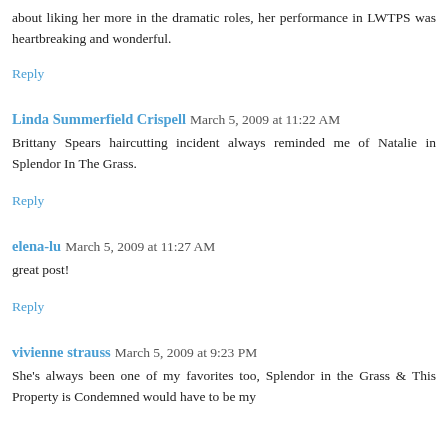about liking her more in the dramatic roles, her performance in LWTPS was heartbreaking and wonderful.
Reply
Linda Summerfield Crispell   March 5, 2009 at 11:22 AM
Brittany Spears haircutting incident always reminded me of Natalie in Splendor In The Grass.
Reply
elena-lu   March 5, 2009 at 11:27 AM
great post!
Reply
vivienne strauss   March 5, 2009 at 9:23 PM
She's always been one of my favorites too, Splendor in the Grass & This Property is Condemned would have to be my